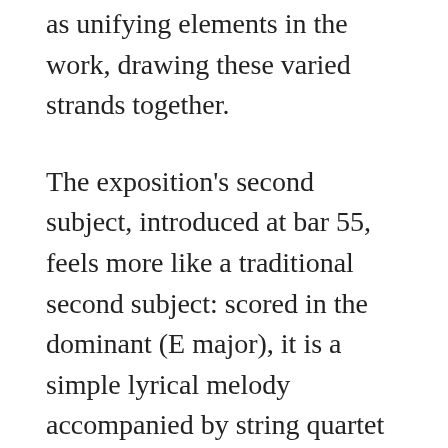as unifying elements in the work, drawing these varied strands together.
The exposition's second subject, introduced at bar 55, feels more like a traditional second subject: scored in the dominant (E major), it is a simple lyrical melody accompanied by string quartet textures. At the end of this section, one might expect a double-bar and an indication to return to the opening of the music to repeat the exposition, but instead Schubert introduces a turbulent extended chromatic passage leading to a climax of descending arpeggios which recall those from the opening, followed by a dominant